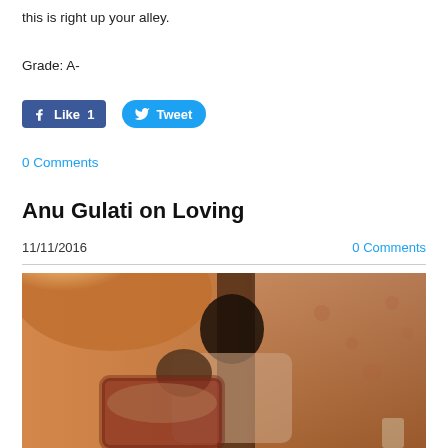this is right up your alley.
Grade: A-
[Figure (other): Facebook Like button (count: 1) and Twitter Tweet button]
0 Comments
Anu Gulati on Loving
11/11/2016
0 Comments
[Figure (photo): A couple embracing in a warm, golden-lit room with floral wallpaper. A woman with short dark hair holds a man whose head rests against her, in a tender embrace.]